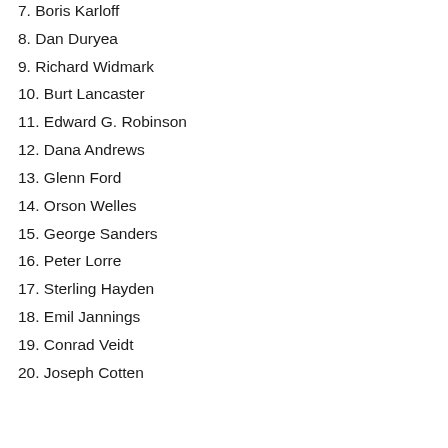7. Boris Karloff
8. Dan Duryea
9. Richard Widmark
10. Burt Lancaster
11. Edward G. Robinson
12. Dana Andrews
13. Glenn Ford
14. Orson Welles
15. George Sanders
16. Peter Lorre
17. Sterling Hayden
18. Emil Jannings
19. Conrad Veidt
20. Joseph Cotten